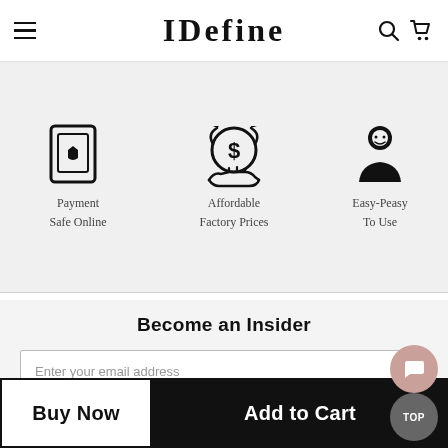IDefine
[Figure (illustration): Three feature icons: Payment Safe Online (shield on device), Affordable Factory Prices (dollar coin with hand), Easy-Peasy To Use (person silhouette)]
Payment Safe Online
Affordable Factory Prices
Easy-Peasy To Use
Become an Insider
Enter your email address
Buy Now
Add to Cart